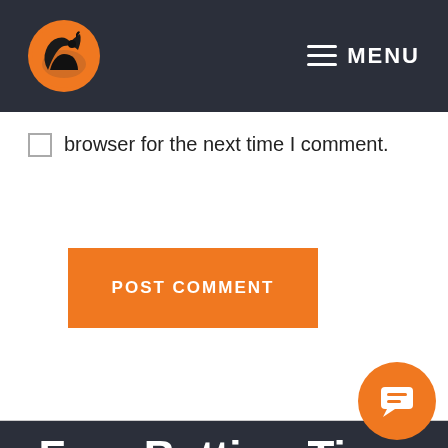MENU
browser for the next time I comment.
POST COMMENT
Free Betting Tips, Direct To Your Inbox
Sign Up To have our Betting Selections...